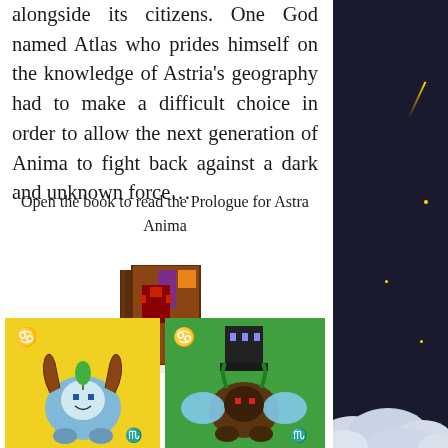alongside its citizens. One God named Atlas who prides himself on the knowledge of Astria's geography had to make a difficult choice in order to allow the next generation of Anima to fight back against a dark and unknown force...
Open the book to read the Prologue for Astra Anima
[Figure (illustration): Pixel art image of a brown book with a red character and orange/purple decorations on the cover, sitting on a white base]
[Figure (illustration): Two pixel art character cards side by side: left card has yellow background with Cancer zodiac symbol showing a blue creature with brown antler-like horns and a small green plant; right card has green background with Cancer zodiac symbol showing a dark creature with a black tower hat and blue/green wings]